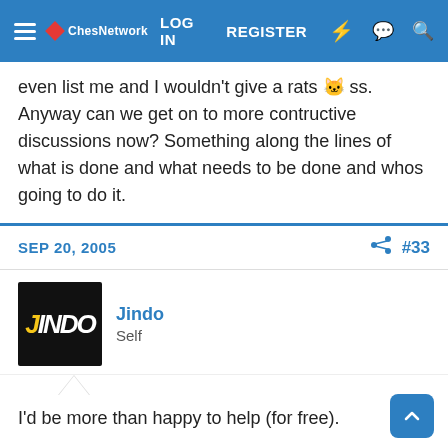LOG IN   REGISTER
even list me and I wouldn't give a rats 🐱 ss. Anyway can we get on to more contructive discussions now? Something along the lines of what is done and what needs to be done and whos going to do it.
SEP 20, 2005   #33
Jindo
Self
I'd be more than happy to help (for free).
To make a map, as said above, you need an idea, i mostly watch something or plan something out to get an idea.
You then need to develop that idea, work on it and get rd of any not so good parts of the map.